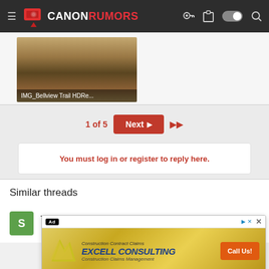Canon Rumors
[Figure (photo): Thumbnail image of trail photo labeled IMG_Bellview Trail HDRe...]
1 of 5
Next
You must log in or register to reply here.
Similar threads
TRINITY IS DEAD. LONG LIVE THE TRINITY!
[Figure (screenshot): Advertisement overlay for Excell Consulting - Construction Contract Claims, Construction Claims Management with Call Us! button]
Advertisement